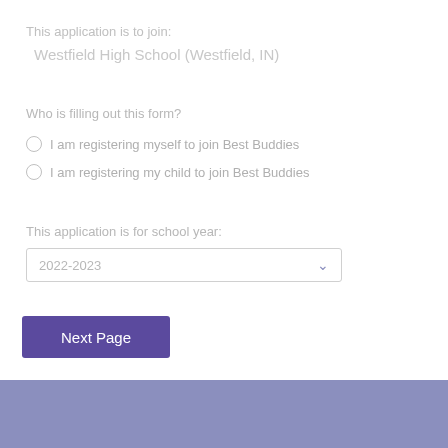This application is to join:
Westfield High School (Westfield, IN)
Who is filling out this form?
I am registering myself to join Best Buddies
I am registering my child to join Best Buddies
This application is for school year:
2022-2023
Next Page